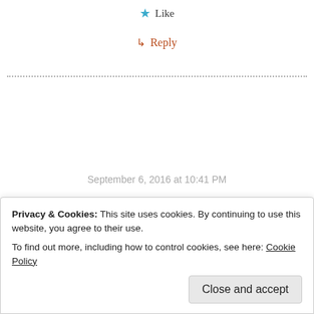★ Like
↳ Reply
September 6, 2016 at 10:41 PM
Quick note here: Happy are those who read the truth and follow it (my words).
Marlene
Privacy & Cookies: This site uses cookies. By continuing to use this website, you agree to their use. To find out more, including how to control cookies, see here: Cookie Policy